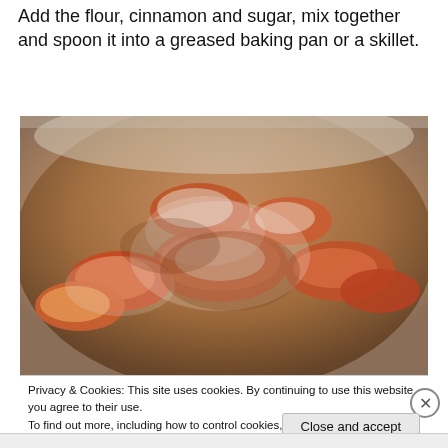Add the flour, cinnamon and sugar, mix together and spoon it into a greased baking pan or a skillet.
[Figure (photo): Sliced fruit (peaches/nectarines) coated with flour, cinnamon and sugar in a metal mixing bowl]
Privacy & Cookies: This site uses cookies. By continuing to use this website, you agree to their use.
To find out more, including how to control cookies, see here: Cookie Policy
Close and accept